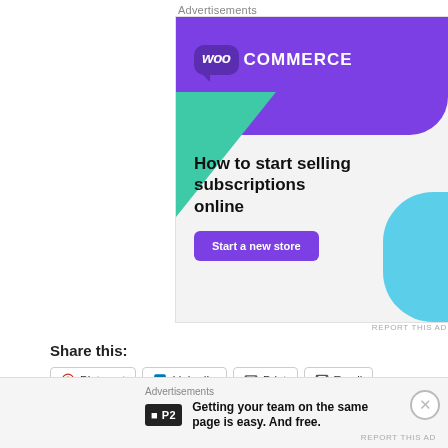Advertisements
[Figure (illustration): WooCommerce advertisement banner. Purple background with WooCommerce logo at top, green triangle and light blue arc decorations. Headline: 'How to start selling subscriptions online'. Purple 'Start a new store' button.]
REPORT THIS AD
Share this:
Pinterest
LinkedIn
Print
Email
Telegram
Advertisements
[Figure (logo): P2 logo - black square with white P2 text]
Getting your team on the same page is easy. And free.
REPORT THIS AD